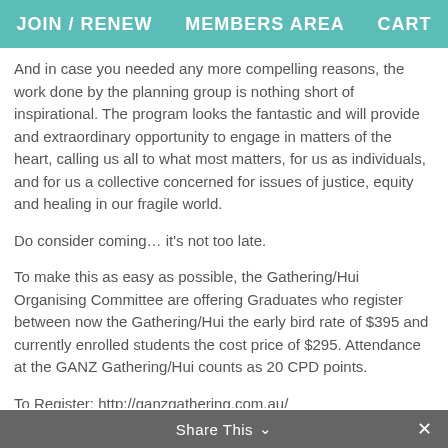JOIN / RENEW   MEMBERS AREA   CART
And in case you needed any more compelling reasons, the work done by the planning group is nothing short of inspirational. The program looks the fantastic and will provide and extraordinary opportunity to engage in matters of the heart, calling us all to what most matters, for us as individuals, and for us a collective concerned for issues of justice, equity and healing in our fragile world.
Do consider coming… it's not too late.
To make this as easy as possible, the Gathering/Hui Organising Committee are offering Graduates who register between now the Gathering/Hui the early bird rate of $395 and currently enrolled students the cost price of $295. Attendance at the GANZ Gathering/Hui counts as 20 CPD points.
To Register: http://ganzgathering.com.au/
For the Program: Updated program for the GANZ Gathering/Hui
Leanne
on behalf of the The GANZ Council.
Share This